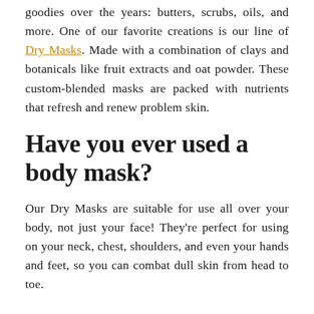goodies over the years: butters, scrubs, oils, and more. One of our favorite creations is our line of Dry Masks. Made with a combination of clays and botanicals like fruit extracts and oat powder. These custom-blended masks are packed with nutrients that refresh and renew problem skin.
Have you ever used a body mask?
Our Dry Masks are suitable for use all over your body, not just your face! They're perfect for using on your neck, chest, shoulders, and even your hands and feet, so you can combat dull skin from head to toe.